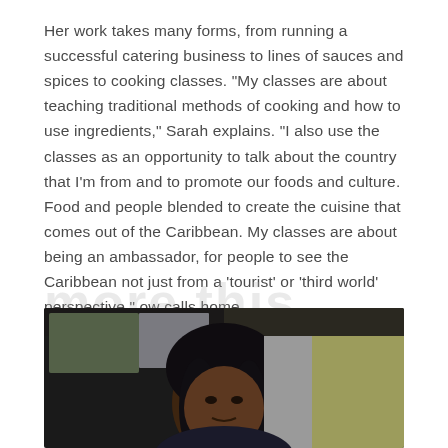Her work takes many forms, from running a successful catering business to lines of sauces and spices to cooking classes. "My classes are about teaching traditional methods of cooking and how to use ingredients," Sarah explains. "I also use the classes as an opportunity to talk about the country that I'm from and to promote our foods and culture. Food and people blended to create the cuisine that comes out of the Caribbean. My classes are about being an ambassador, for people to see the Caribbean not just from a 'tourist' or 'third world' perspective." ow calls home.
[Figure (photo): Portrait photo of a woman with dark hair in an indoor setting, partially visible at the bottom of the page]